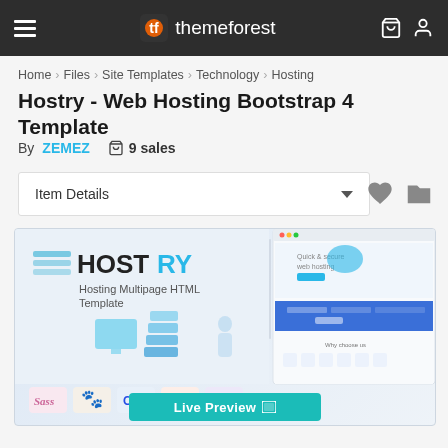themeforest
Home > Files > Site Templates > Technology > Hosting
Hostry - Web Hosting Bootstrap 4 Template
By ZEMEZ  🛒 9 sales
Item Details
[Figure (screenshot): Preview screenshot of Hostry web hosting Bootstrap 4 template showing the HOSTRY logo, isometric server graphics, and a website preview with blue sections. Technology badges (Sass, Pug, CSS3, HTML5, Bootstrap) shown at bottom. A 'Live Preview' button appears at the very bottom.]